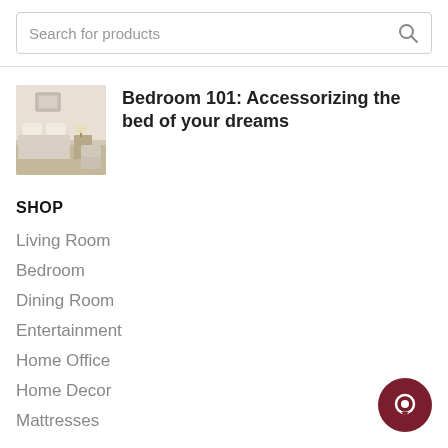Search for products
Bedroom 101: Accessorizing the bed of your dreams
SHOP
Living Room
Bedroom
Dining Room
Entertainment
Home Office
Home Decor
Mattresses